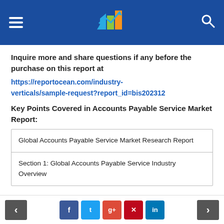[Report Ocean logo with hamburger menu and search icon on blue bar]
Inquire more and share questions if any before the purchase on this report at
https://reportocean.com/industry-verticals/sample-request?report_id=bis202312
Key Points Covered in Accounts Payable Service Market Report:
| Global Accounts Payable Service Market Research Report |
| Section 1: Global Accounts Payable Service Industry Overview |
< [social share buttons: Facebook, Twitter, Google+, Pinterest, LinkedIn] >